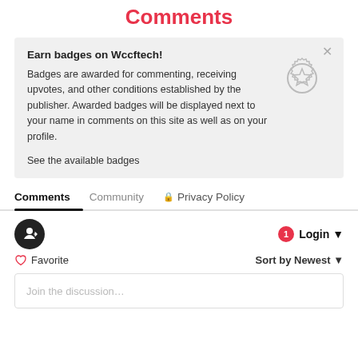Comments
Earn badges on Wccftech!
Badges are awarded for commenting, receiving upvotes, and other conditions established by the publisher. Awarded badges will be displayed next to your name in comments on this site as well as on your profile.
See the available badges
[Figure (illustration): Gray badge/medal icon with a star in the center and decorative border]
Comments  Community  🔒 Privacy Policy
[Figure (illustration): Dark circular avatar icon with a share/login symbol]
1  Login ▾
♡ Favorite
Sort by Newest ▾
Join the discussion…